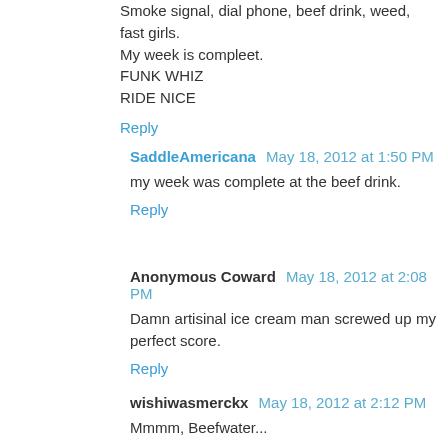Smoke signal, dial phone, beef drink, weed, fast girls.
My week is compleet.
FUNK WHIZ
RIDE NICE
Reply
SaddleAmericana  May 18, 2012 at 1:50 PM
my week was complete at the beef drink.
Reply
Anonymous Coward  May 18, 2012 at 2:08 PM
Damn artisinal ice cream man screwed up my perfect score.
Reply
wishiwasmerckx  May 18, 2012 at 2:12 PM
Mmmm, Beefwater...